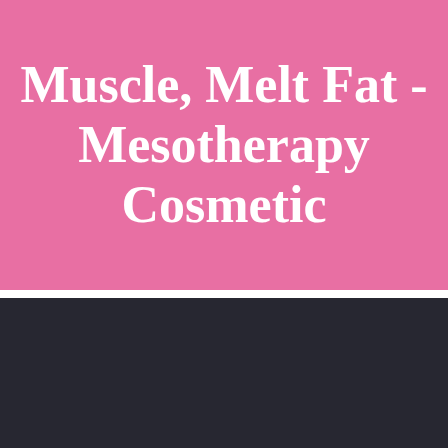Muscle, Melt Fat - Mesotherapy Cosmetic
[Figure (photo): Dark navy/black background image area, lower portion of page]